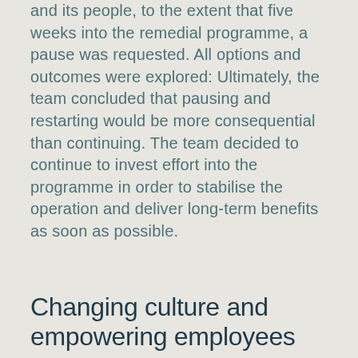and its people, to the extent that five weeks into the remedial programme, a pause was requested. All options and outcomes were explored: Ultimately, the team concluded that pausing and restarting would be more consequential than continuing. The team decided to continue to invest effort into the programme in order to stabilise the operation and deliver long-term benefits as soon as possible.
Changing culture and empowering employees
The programme of work was designed around the needs of the